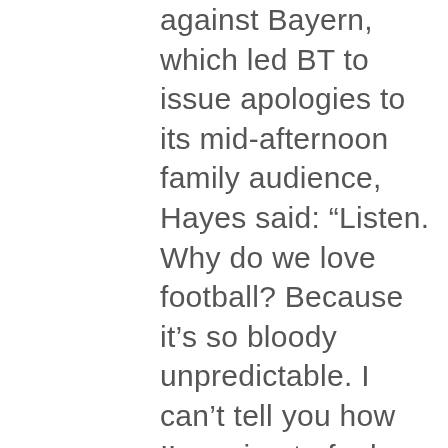against Bayern, which led BT to issue apologies to its mid-afternoon family audience, Hayes said: “Listen. Why do we love football? Because it’s so bloody unpredictable. I can’t tell you how I’m going to feel on Sunday, or the next Sunday, but we love it because it’s a game of emotions. Most of the time we have to reserve those emotions to perform our jobs.” With the possibility of Chelsea’s men and women scaling incredible heights this season, it’s also turning into a remarkable and memorable year for the entire football club – overshadowing, though not burying, the boardroom debacle that saw the club join five other Premier League teams in the aborted European Super League, without a care